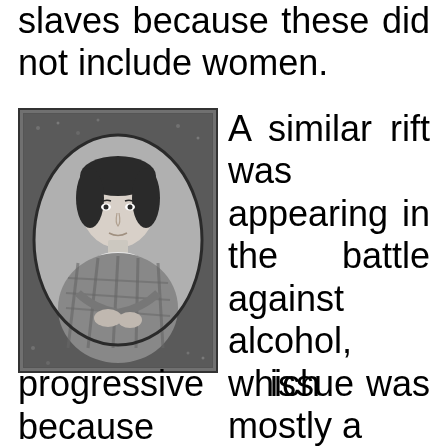slaves because these did not include women.
[Figure (photo): Black and white daguerreotype portrait of a young woman in a plaid dress, seated, with her arms folded, looking directly at the camera. The photo is in an oval frame with a textured border.]
A similar rift was appearing in the battle against alcohol, which was mostly a progressive issue because